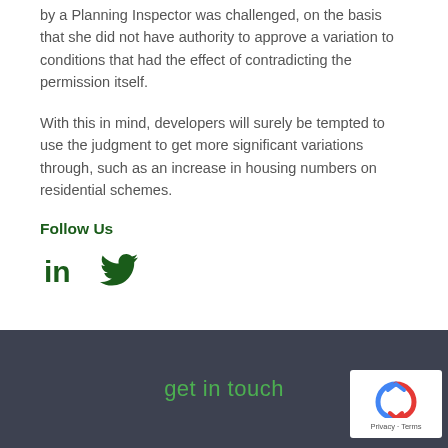by a Planning Inspector was challenged, on the basis that she did not have authority to approve a variation to conditions that had the effect of contradicting the permission itself.
With this in mind, developers will surely be tempted to use the judgment to get more significant variations through, such as an increase in housing numbers on residential schemes.
Follow Us
[Figure (other): Social media icons: LinkedIn and Twitter logos in dark green]
get in touch